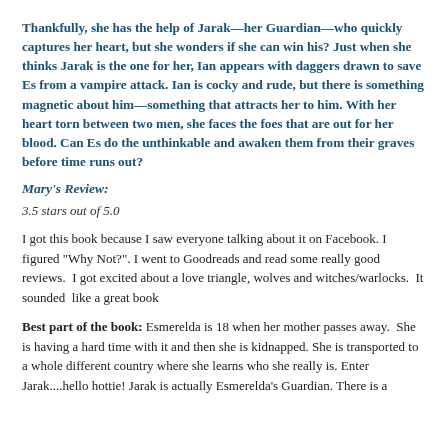Thankfully, she has the help of Jarak—her Guardian—who quickly captures her heart, but she wonders if she can win his? Just when she thinks Jarak is the one for her, Ian appears with daggers drawn to save Es from a vampire attack. Ian is cocky and rude, but there is something magnetic about him—something that attracts her to him. With her heart torn between two men, she faces the foes that are out for her blood. Can Es do the unthinkable and awaken them from their graves before time runs out?
Mary's Review:
3.5 stars out of 5.0
I got this book because I saw everyone talking about it on Facebook. I figured "Why Not?". I went to Goodreads and read some really good reviews.  I got excited about a love triangle, wolves and witches/warlocks.  It sounded  like a great book
Best part of the book: Esmerelda is 18 when her mother passes away.  She is having a hard time with it and then she is kidnapped. She is transported to a whole different country where she learns who she really is. Enter Jarak....hello hottie! Jarak is actually Esmerelda's Guardian. There is a